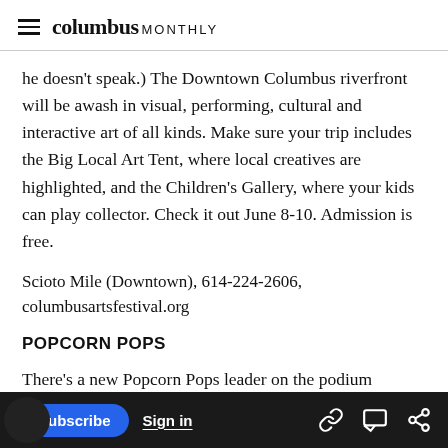columbus MONTHLY
he doesn't speak.) The Downtown Columbus riverfront will be awash in visual, performing, cultural and interactive art of all kinds. Make sure your trip includes the Big Local Art Tent, where local creatives are highlighted, and the Children's Gallery, where your kids can play collector. Check it out June 8-10. Admission is free.
Scioto Mile (Downtown), 614-224-2606, columbusartsfestival.org
POPCORN POPS
There's a new Popcorn Pops leader on the podium